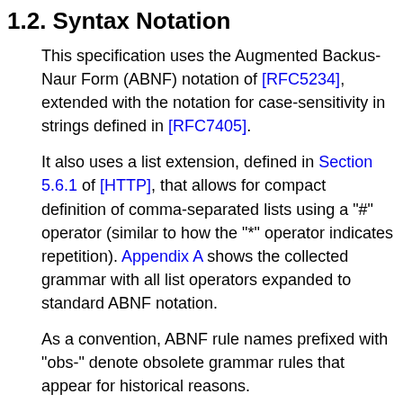1.2. Syntax Notation
This specification uses the Augmented Backus-Naur Form (ABNF) notation of [RFC5234], extended with the notation for case-sensitivity in strings defined in [RFC7405].
It also uses a list extension, defined in Section 5.6.1 of [HTTP], that allows for compact definition of comma-separated lists using a "#" operator (similar to how the "*" operator indicates repetition). Appendix A shows the collected grammar with all list operators expanded to standard ABNF notation.
As a convention, ABNF rule names prefixed with "obs-" denote obsolete grammar rules that appear for historical reasons.
The following core rules are included by reference, as defined in [RFC5234], Appendix B.1: ALPHA (letters), CR